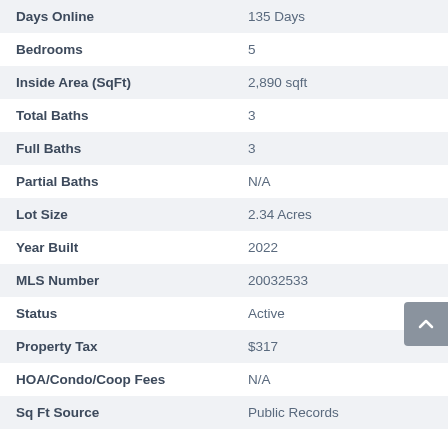| Field | Value |
| --- | --- |
| Days Online | 135 Days |
| Bedrooms | 5 |
| Inside Area (SqFt) | 2,890 sqft |
| Total Baths | 3 |
| Full Baths | 3 |
| Partial Baths | N/A |
| Lot Size | 2.34 Acres |
| Year Built | 2022 |
| MLS Number | 20032533 |
| Status | Active |
| Property Tax | $317 |
| HOA/Condo/Coop Fees | N/A |
| Sq Ft Source | Public Records |
Friends & Family
React   Comment